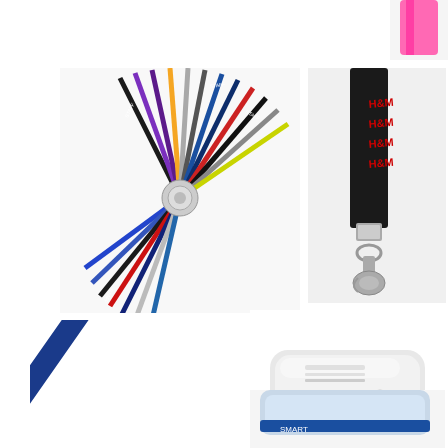[Figure (photo): Top-left: colorful fan arrangement of lanyards in multiple colors (black, purple, orange, silver, blue, green, red, gray) with metal clips, fanned out in a circular pattern on white background]
[Figure (photo): Top-right: close-up of a black lanyard with red H&M branding text, showing a metal swivel lobster-claw clip attachment]
[Figure (photo): Top-far-right partial: pink/red lanyard partially visible at very top right corner]
[Figure (photo): Middle-left: navy blue lanyard with logo and text branding, with a silver metal ring/split-ring attachment, laid diagonally on white background]
[Figure (photo): Middle-right: white/silver compact ID card printer (small desktop badge printer) with blue accent logo on front]
[Figure (photo): Bottom partial: bottom portion of what appears to be a card reader or printer device, partially cut off at the bottom of the page]